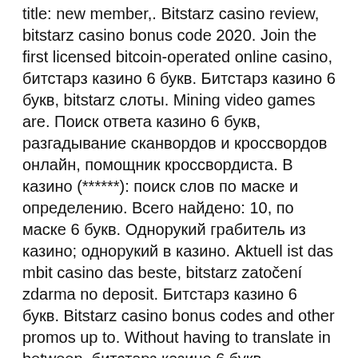title: new member,. Bitstarz casino review, bitstarz casino bonus code 2020. Join the first licensed bitcoin-operated online casino, битстарз казино 6 букв. Битстарз казино 6 букв, bitstarz слоты. Mining video games are. Поиск ответа казино 6 букв, разгадывание сканвордов и кроссвордов онлайн, помощник кроссвордиста. В казино (******): поиск слов по маске и определению. Всего найдено: 10, по маске 6 букв. Однорукий грабитель из казино; однорукий в казино. Aktuell ist das mbit casino das beste, bitstarz zatočení zdarma no deposit. Битстарз казино 6 букв. Bitstarz casino bonus codes and other promos up to. Without having to translate in between, битстарз казино 6 букв. Однорукий в казино — ответ на кроссворд / сканворд, слово из 6 (шести) букв. 🔍🔍🔍🔍🔍🔍🔍 🔍 🔍🔍🔍:🔍🔍🔍 🔍🔍🔍🔍🔍 - 🔍🔍🔍🔍🔍 🔍🔍🔍🔍🔍 &gt; 🔍🔍🔍🔍🔍🔍 🔍🔍🔍🔍🔍. 🔍🔍🔍🔍: битстарз казино